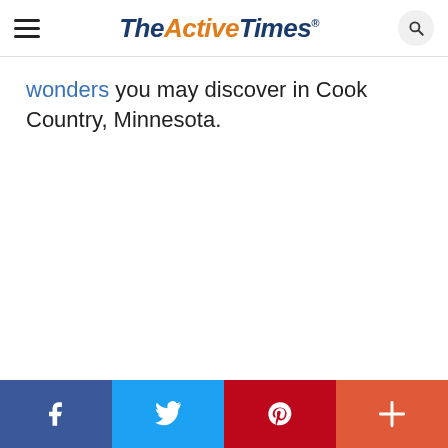TheActiveTimes
wonders you may discover in Cook Country, Minnesota.
Social share bar: Facebook, Twitter, Pinterest, More